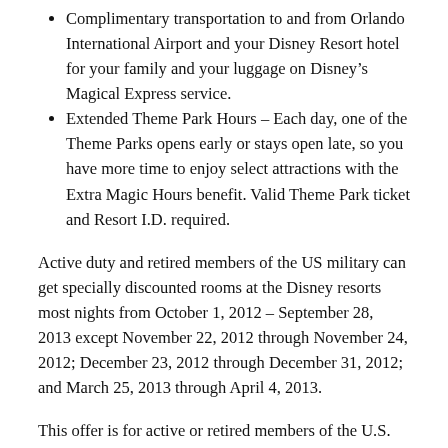Complimentary transportation to and from Orlando International Airport and your Disney Resort hotel for your family and your luggage on Disney’s Magical Express service.
Extended Theme Park Hours – Each day, one of the Theme Parks opens early or stays open late, so you have more time to enjoy select attractions with the Extra Magic Hours benefit. Valid Theme Park ticket and Resort I.D. required.
Active duty and retired members of the US military can get specially discounted rooms at the Disney resorts most nights from October 1, 2012 – September 28, 2013 except November 22, 2012 through November 24, 2012; December 23, 2012 through December 31, 2012; and March 25, 2013 through April 4, 2013.
This offer is for active or retired members of the U.S. military, including the National Guard, Reservists and the U.S. Coast Guard.